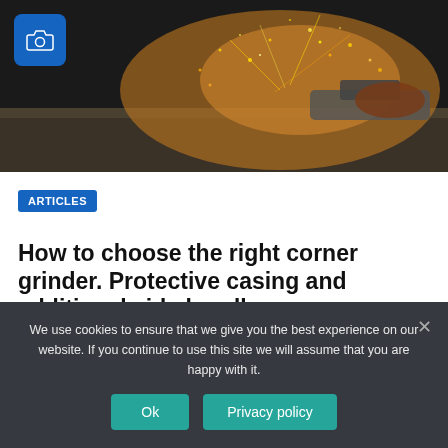[Figure (photo): Worker using an angle grinder with sparks flying, wearing protective gloves. A blue camera icon badge is overlaid in the top-left corner of the image.]
ARTICLES
How to choose the right corner grinder. Protective casing and additional side handle
How to choose the right corner grinder Corner grinder is the same angular grinding machine, or
We use cookies to ensure that we give you the best experience on our website. If you continue to use this site we will assume that you are happy with it.
Ok   Privacy policy